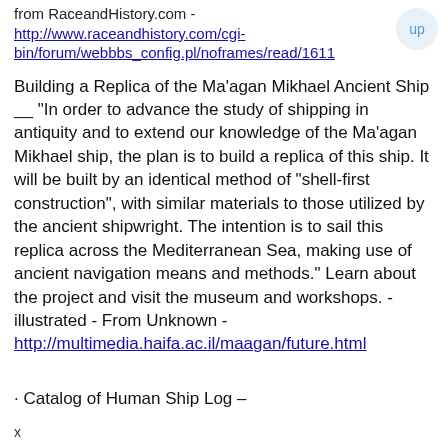from RaceandHistory.com - http://www.raceandhistory.com/cgi-bin/forum/webbbs_config.pl/noframes/read/1611
Building a Replica of the Ma'agan Mikhael Ancient Ship __ "In order to advance the study of shipping in antiquity and to extend our knowledge of the Ma'agan Mikhael ship, the plan is to build a replica of this ship. It will be built by an identical method of "shell-first construction", with similar materials to those utilized by the ancient shipwright. The intention is to sail this replica across the Mediterranean Sea, making use of ancient navigation means and methods." Learn about the project and visit the museum and workshops. - illustrated - From Unknown - http://multimedia.haifa.ac.il/maagan/future.html
· Catalog of Human Ship Log - (partial, cut off)